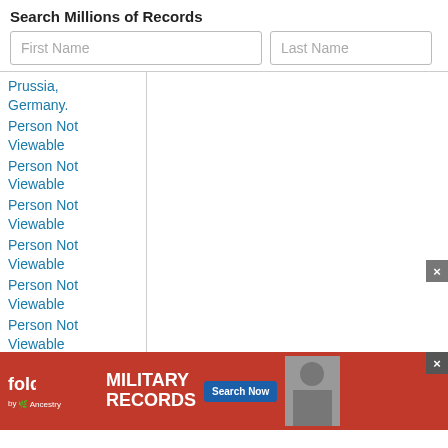Search Millions of Records
First Name
Last Name
Prussia, Germany.
Person Not Viewable
Person Not Viewable
Person Not Viewable
Person Not Viewable
Person Not Viewable
Person Not Viewable
Person Not Viewable
[Figure (screenshot): fold3 by Ancestry advertisement banner for Military Records with Search Now button]